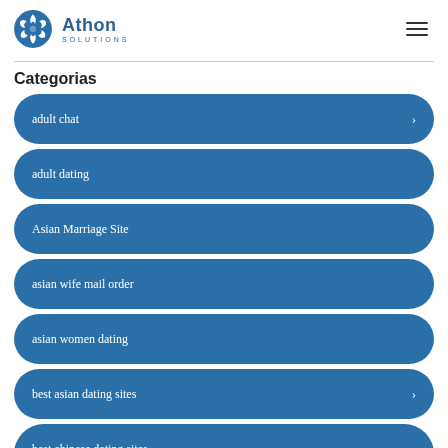Athon Solutions
Categorias
adult chat
adult dating
Asian Marriage Site
asian wife mail order
asian women dating
best asian dating sites
best chinese dating sites